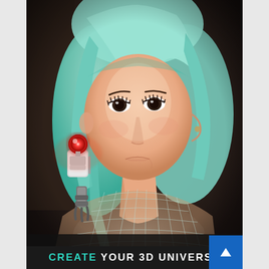[Figure (illustration): 3D rendered illustration of a stylized female character with light blue/teal hair and a cybernetic robot arm holding a device with a red glowing orb on top. The lower half of the figure shows wireframe mesh rendering. Background is dark and moody.]
CREATE YOUR 3D UNIVERSE